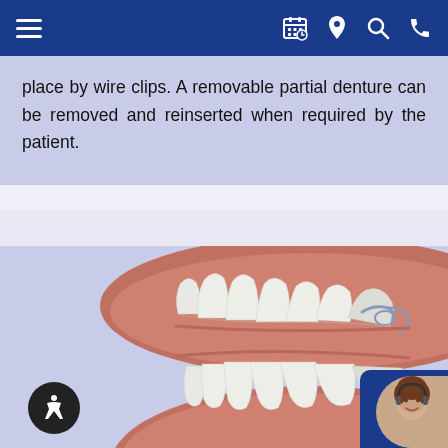Navigation bar with hamburger menu and icons (calendar, location, search, phone)
place by wire clips. A removable partial denture can be removed and reinserted when required by the patient.
[Figure (illustration): 3D dental illustration showing upper and lower teeth (dentition) with a metal wire clip/clasp visible on upper right molar area, showing gums and partial denture detail]